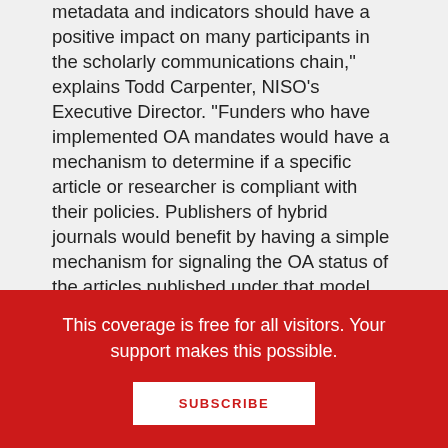metadata and indicators should have a positive impact on many participants in the scholarly communications chain," explains Todd Carpenter, NISO's Executive Director. "Funders who have implemented OA mandates would have a mechanism to determine if a specific article or researcher is compliant with their policies. Publishers of hybrid journals would benefit by having a simple mechanism for signaling the OA status of the articles published under that model. Authors could more easily determine whether their selected distribution option is being respected and be able to document their compliance with funder requirements.
This coverage is free for all visitors. Your support makes this possible.
SUBSCRIBE